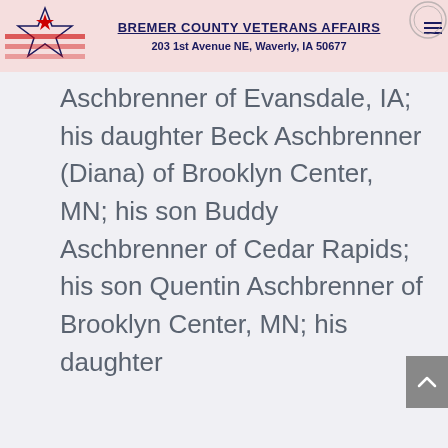BREMER COUNTY VETERANS AFFAIRS
203 1st Avenue NE, Waverly, IA 50677
Aschbrenner of Evansdale, IA; his daughter Beck Aschbrenner (Diana) of Brooklyn Center, MN; his son Buddy Aschbrenner of Cedar Rapids; his son Quentin Aschbrenner of Brooklyn Center, MN; his daughter